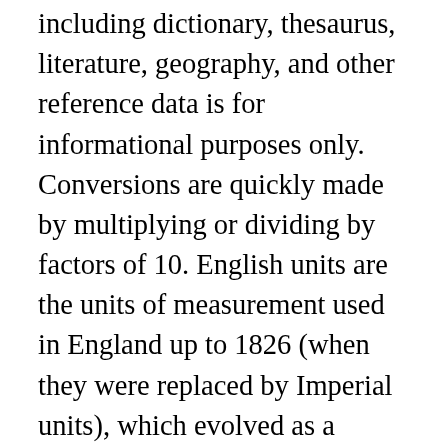including dictionary, thesaurus, literature, geography, and other reference data is for informational purposes only. Conversions are quickly made by multiplying or dividing by factors of 10. English units are the units of measurement used in England up to 1826 (when they were replaced by Imperial units), which evolved as a combination of the Anglo-Saxon and Roman systems of units. [19] No standards of the Tower pound are known to have survived.[20]. 1706 5 & 6 Anne c27 — Wine gallon to be a cylindrical vessel with an even bottom 7″ diameter throughout and 6″ deep from top to bottom of the inside, or holding 231 in³ and no more. A cord is the amount of wood that, when "ranked and well stowed"